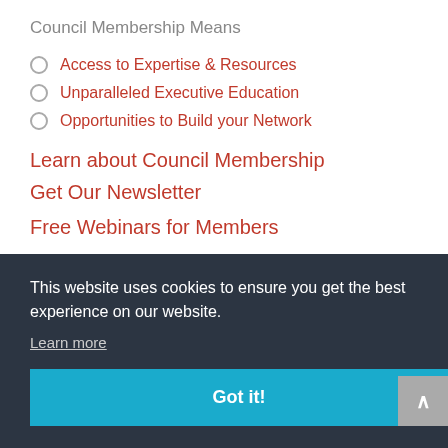Council Membership Means
Access to Expertise & Resources
Unparalleled Executive Education
Opportunities to Build your Network
Learn about Council Membership
Get Our Newsletter
Free Webinars for Members
This website uses cookies to ensure you get the best experience on our website.
Learn more
Got it!